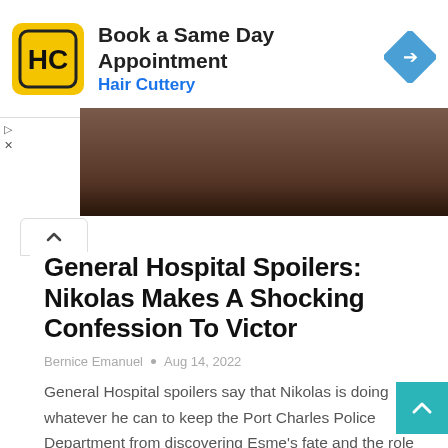[Figure (screenshot): Hair Cuttery advertisement banner with yellow logo, text 'Book a Same Day Appointment' and 'Hair Cuttery' in blue, and a blue navigation arrow icon on the right]
[Figure (photo): Partial photo strip showing a person from behind, cropped at top of content area]
General Hospital Spoilers: Nikolas Makes A Shocking Confession To Victor
Bernice Emanuel  •  Aug 14, 2022
General Hospital spoilers say that Nikolas is doing whatever he can to keep the Port Charles Police Department from discovering Esme's fate and the role that Ava played into it. Keep reading below for all of the spoilers you need to know....
READ MORE...